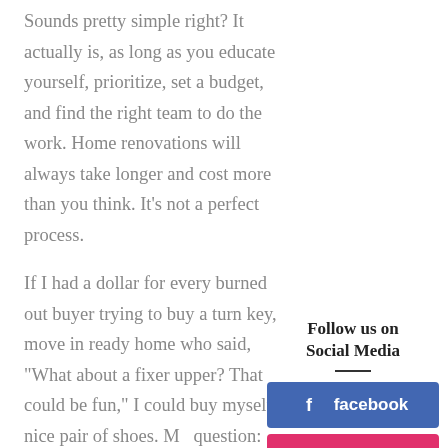Sounds pretty simple right? It actually is, as long as you educate yourself, prioritize, set a budget, and find the right team to do the work. Home renovations will always take longer and cost more than you think. It's not a perfect process.
If I had a dollar for every burned out buyer trying to buy a turn key, move in ready home who said, "What about a fixer upper? That could be fun," I could buy myself a nice pair of shoes. My question: fun? In what way exactly? If you think buying a home is stressful, buckle up during renovations.
The goal is not to scare anyone, but rat…
Follow us on Social Media